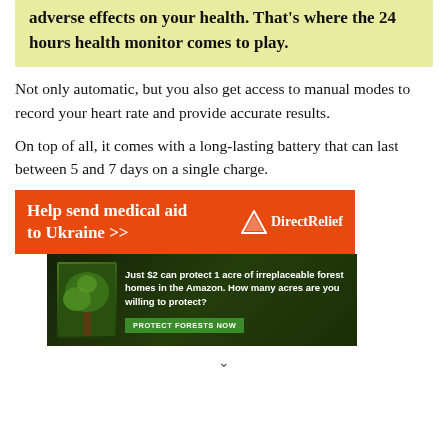adverse effects on your health. That's where the 24 hours health monitor comes to play.
Not only automatic, but you also get access to manual modes to record your heart rate and provide accurate results.
On top of all, it comes with a long-lasting battery that can last between 5 and 7 days on a single charge.
[Figure (other): Orange advertisement banner for Direct Relief: 'Help send medical aid to Ukraine >>' with Direct Relief logo on the right]
[Figure (other): Green/dark forest advertisement: 'Just $2 can protect 1 acre of irreplaceable forest homes in the Amazon. How many acres are you willing to protect?' with a 'PROTECT FORESTS NOW' button]